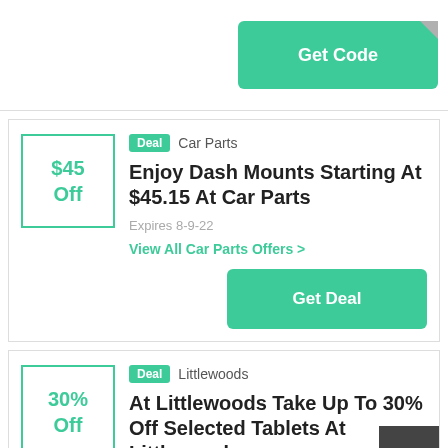[Figure (other): Get Code button (teal/green) with folded corner effect at top right of page]
[Figure (infographic): Deal card for Car Parts: $45 Off badge, Deal tag, 'Enjoy Dash Mounts Starting At $45.15 At Car Parts', Expires 8-9-22, View All Car Parts Offers link, Get Deal button]
[Figure (infographic): Deal card for Littlewoods: 30% Off badge, Deal tag, 'At Littlewoods Take Up To 30% Off Selected Tablets At Littlewoods', with back-to-top button overlay]